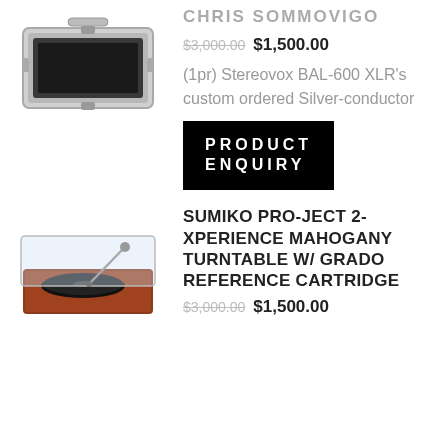[Figure (photo): Open aluminum/metal case or box (product photo, top view)]
CHRIS SOMMOVIGO
$3,000.00 $1,500.00
(1pr) Stereovox BAL-600 XLR's custom ordered Silver-conductor
PRODUCT ENQUIRY
[Figure (photo): Turntable with clear dust cover on wooden base (product photo)]
SUMIKO PRO-JECT 2-XPERIENCE MAHOGANY TURNTABLE W/ GRADO REFERENCE CARTRIDGE
$3,000.00 $1,500.00